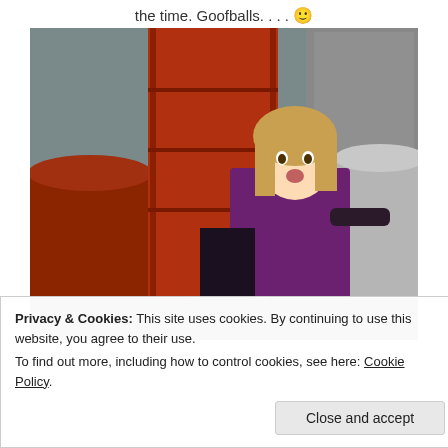the time. Goofballs.... 🙂
[Figure (photo): Two people posing playfully among large red industrial pipes and concrete structures. A woman in a purple blouse looks surprised, and a man peeks from behind the structures.]
Privacy & Cookies: This site uses cookies. By continuing to use this website, you agree to their use. To find out more, including how to control cookies, see here: Cookie Policy
Close and accept